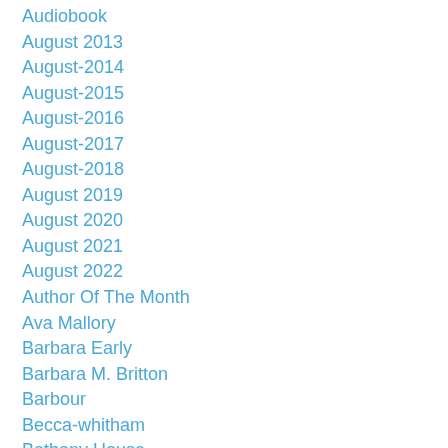Audiobook
August 2013
August-2014
August-2015
August-2016
August-2017
August-2018
August 2019
August 2020
August 2021
August 2022
Author Of The Month
Ava Mallory
Barbara Early
Barbara M. Britton
Barbour
Becca-whitham
Bethany House
Beth White
Beverly-lewis
Bible